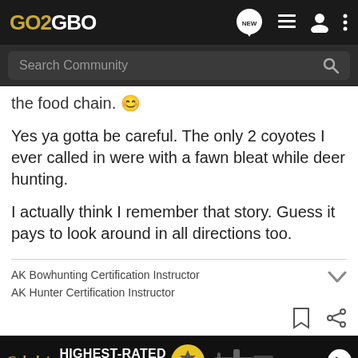GO2GBO
Search Community
the food chain. 😊
Yes ya gotta be careful. The only 2 coyotes I ever called in were with a fawn bleat while deer hunting.
I actually think I remember that story. Guess it pays to look around in all directions too.
AK Bowhunting Certification Instructor
AK Hunter Certification Instructor
1 - 9 of 9